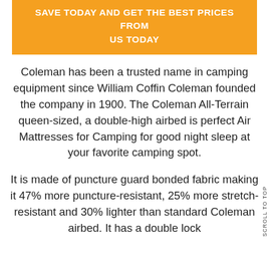[Figure (other): Orange banner button with text: SAVE TODAY AND GET THE BEST PRICES FROM US TODAY]
Coleman has been a trusted name in camping equipment since William Coffin Coleman founded the company in 1900. The Coleman All-Terrain queen-sized, a double-high airbed is perfect Air Mattresses for Camping for good night sleep at your favorite camping spot.
It is made of puncture guard bonded fabric making it 47% more puncture-resistant, 25% more stretch-resistant and 30% lighter than standard Coleman airbed. It has a double lock